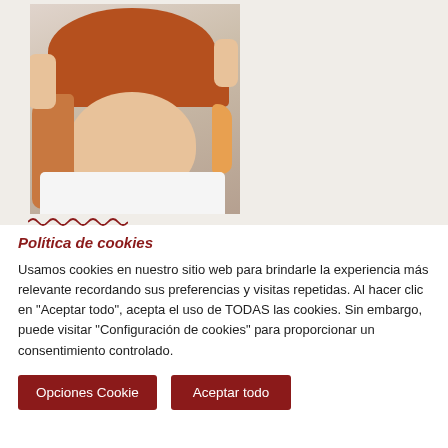[Figure (photo): Woman wearing an orange/rust knitted beanie hat, pulling it down over her eyes, with red hair and white shirt, on light background]
Política de cookies
Usamos cookies en nuestro sitio web para brindarle la experiencia más relevante recordando sus preferencias y visitas repetidas. Al hacer clic en "Aceptar todo", acepta el uso de TODAS las cookies. Sin embargo, puede visitar "Configuración de cookies" para proporcionar un consentimiento controlado.
Opciones Cookie
Aceptar todo